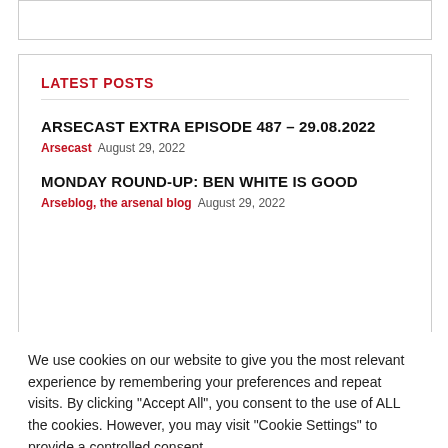LATEST POSTS
ARSECAST EXTRA EPISODE 487 – 29.08.2022
Arsecast   August 29, 2022
MONDAY ROUND-UP: BEN WHITE IS GOOD
Arseblog, the arsenal blog   August 29, 2022
We use cookies on our website to give you the most relevant experience by remembering your preferences and repeat visits. By clicking "Accept All", you consent to the use of ALL the cookies. However, you may visit "Cookie Settings" to provide a controlled consent.
Read More   Cookie Settings   Accept All